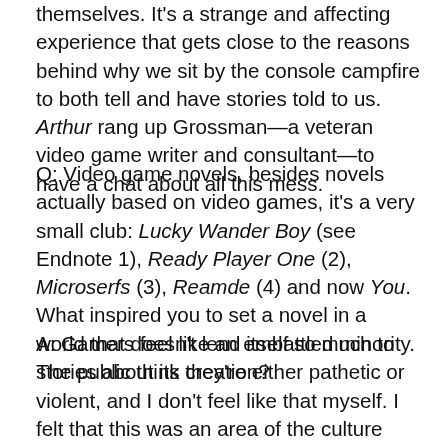themselves. It's a strange and affecting experience that gets close to the reasons behind why we sit by the console campfire to both tell and have stories told to us. Arthur rang up Grossman—a veteran video game writer and consultant—to have a chat about all this mess.
Q: Video game novels, besides novels actually based on video games, it's a very small club: Lucky Wander Boy (see Endnote 1), Ready Player One (2), Microserfs (3), Reamde (4) and now You. What inspired you to set a novel in a world that doesn't lend itself so much to stories about its creation?
A: Gamers feel like an embattled minority. The public think they're either pathetic or violent, and I don't feel like that myself. I felt that this was an area of the culture that hadn't been described too deeply or clearly or truthfully as it